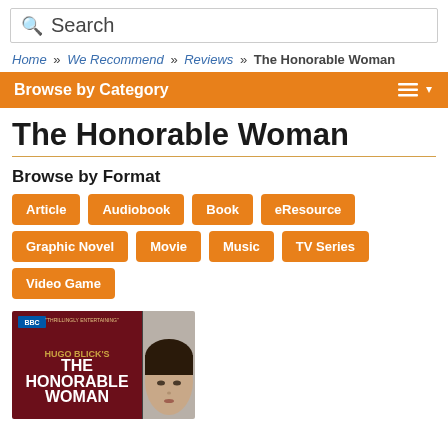Search
Home » We Recommend » Reviews » The Honorable Woman
Browse by Category
The Honorable Woman
Browse by Format
Article
Audiobook
Book
eResource
Graphic Novel
Movie
Music
TV Series
Video Game
[Figure (photo): Book/DVD cover of The Honorable Woman showing dark red background with title text and a woman's face]